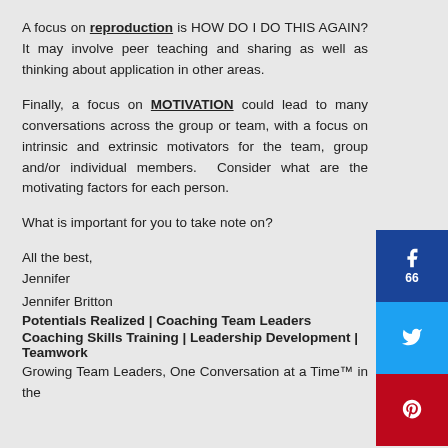A focus on reproduction is HOW DO I DO THIS AGAIN? It may involve peer teaching and sharing as well as thinking about application in other areas.
Finally, a focus on MOTIVATION could lead to many conversations across the group or team, with a focus on intrinsic and extrinsic motivators for the team, group and/or individual members. Consider what are the motivating factors for each person.
What is important for you to take note on?
All the best,
Jennifer
Jennifer Britton
Potentials Realized | Coaching Team Leaders
Coaching Skills Training | Leadership Development | Teamwork
Growing Team Leaders, One Conversation at a Time™ in the